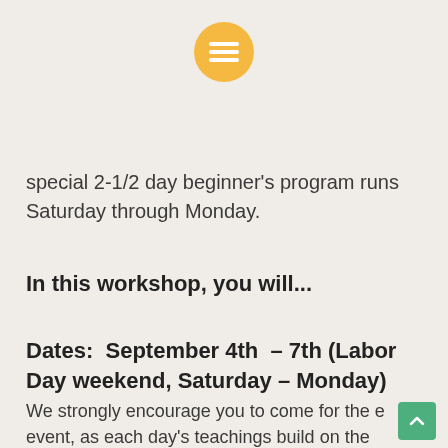[Figure (logo): Yellow/orange circular icon with three horizontal lines (hamburger/menu icon) in white]
special 2-1/2 day beginner's program runs Saturday through Monday.
In this workshop, you will...
Dates:  September 4th  – 7th (Labor Day weekend, Saturday – Monday)
We strongly encourage you to come for the entire event, as each day's teachings build on the